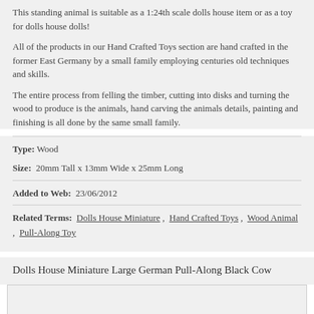This standing animal is suitable as a 1:24th scale dolls house item or as a toy for dolls house dolls!
All of the products in our Hand Crafted Toys section are hand crafted in the former East Germany by a small family employing centuries old techniques and skills.
The entire process from felling the timber, cutting into disks and turning the wood to produce is the animals, hand carving the animals details, painting and finishing is all done by the same small family.
Type: Wood
Size:  20mm Tall x 13mm Wide x 25mm Long
Added to Web:  23/06/2012
Related Terms:  Dolls House Miniature ,  Hand Crafted Toys ,  Wood Animal ,  Pull-Along Toy
Dolls House Miniature Large German Pull-Along Black Cow
[Figure (photo): A small wooden pull-along black and white cow toy on a green base with red wheels, hand crafted German miniature]